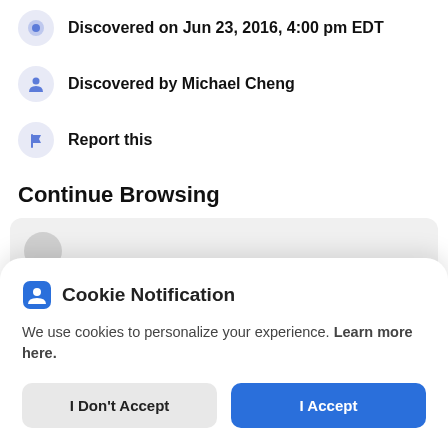Discovered on Jun 23, 2016, 4:00 pm EDT
Discovered by Michael Cheng
Report this
Continue Browsing
[Figure (screenshot): Partially visible card with grey circle icon placeholder]
Cookie Notification
We use cookies to personalize your experience. Learn more here.
I Don't Accept
I Accept